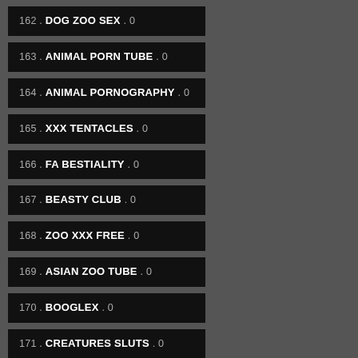162 . DOG ZOO SEX . 0
163 . ANIMAL PORN TUBE . 0
164 . ANIMAL PORNOGRAPHY . 0
165 . XXX TENTACLES . 0
166 . FA BESTIALITY . 0
167 . BEASTY CLUB . 0
168 . ZOO XXX FREE . 0
169 . ASIAN ZOO TUBE . 0
170 . BOOGLEX . 0
171 . CREATURES SLUTS . 0